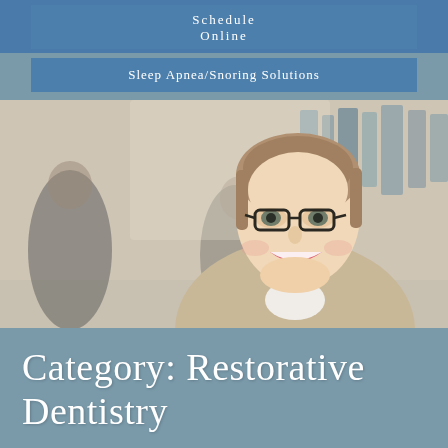Schedule Online
Sleep Apnea/Snoring Solutions
[Figure (photo): Smiling professional woman with glasses wearing a light beige blazer, with blurred office/library background and blurred figures behind her.]
Category: Restorative Dentistry